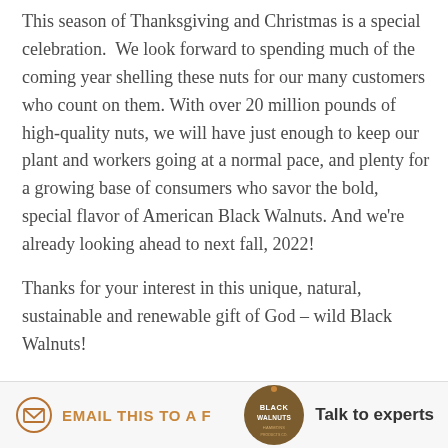This season of Thanksgiving and Christmas is a special celebration.  We look forward to spending much of the coming year shelling these nuts for our many customers who count on them. With over 20 million pounds of high-quality nuts, we will have just enough to keep our plant and workers going at a normal pace, and plenty for a growing base of consumers who savor the bold, special flavor of American Black Walnuts. And we're already looking ahead to next fall, 2022!
Thanks for your interest in this unique, natural, sustainable and renewable gift of God – wild Black Walnuts!
EMAIL THIS TO A F...
[Figure (logo): Black Walnuts logo with text 'Talk to experts']